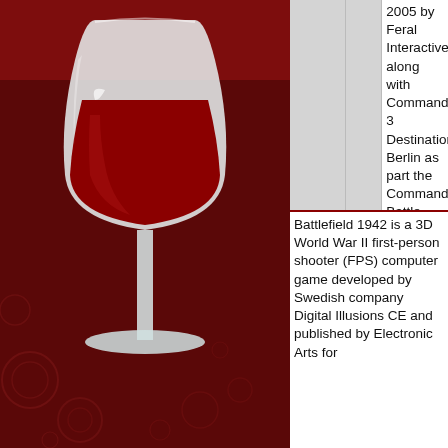[Figure (illustration): Wine glass with red wine on a dark red background with decorative circular patterns. The wine glass is white/clear with deep red wine inside, set against a dark crimson/maroon background.]
|  |  | 2005 by Feral Interactive along with Commandos 3 Destination Berlin as part the Commandos Battle Pack. |
Battlefield 1942 is a 3D World War II first-person shooter (FPS) computer game developed by Swedish company Digital Illusions CE and published by Electronic Arts for